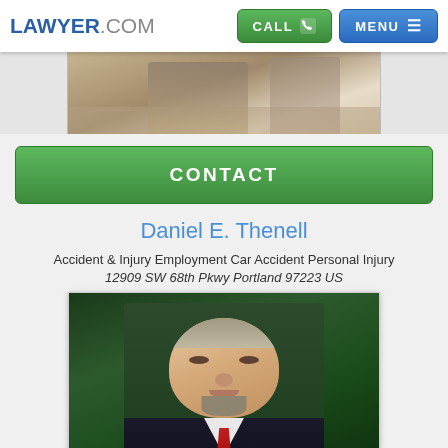LAWYER.COM  CALL  MENU
[Figure (photo): Partial cropped photo of a person in a suit at the top of the page]
CONTACT
Daniel E. Thenell
Accident & Injury Employment Car Accident Personal Injury
12909 SW 68th Pkwy Portland 97223 US
[Figure (photo): Professional headshot photo of Daniel E. Thenell, a man in a dark pinstripe suit with a red tie, short graying hair and a goatee, photographed against a green leafy background]
CONTACT